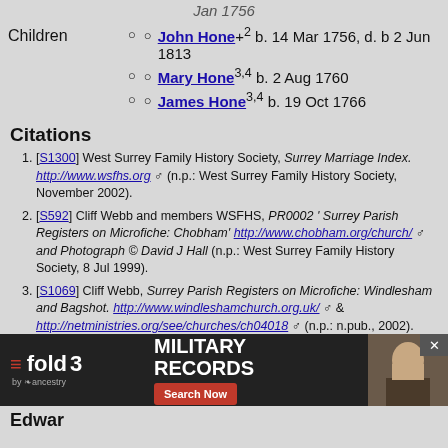Jan 1756
John Hone+2 b. 14 Mar 1756, d. b 2 Jun 1813
Mary Hone3,4 b. 2 Aug 1760
James Hone3,4 b. 19 Oct 1766
Citations
[S1300] West Surrey Family History Society, Surrey Marriage Index. http://www.wsfhs.org (n.p.: West Surrey Family History Society, November 2002).
[S592] Cliff Webb and members WSFHS, PR0002 ' Surrey Parish Registers on Microfiche: Chobham' http://www.chobham.org/church/ and Photograph © David J Hall (n.p.: West Surrey Family History Society, 8 Jul 1999).
[S1069] Cliff Webb, Surrey Parish Registers on Microfiche: Windlesham and Bagshot. http://www.windleshamchurch.org.uk/ & http://netministries.org/see/churches/ch04018 (n.p.: n.pub., 2002).
[S309] Church of Jesus Christ of Latter-Day Saints, International Genealogical Index and Various records on the world wide web: FamilySearch Internet Genealogical Index. (http://www.familysearch.org/: Church of Jesus Christ of Latter-Day Saints, Various).
[Figure (infographic): fold3 by Ancestry advertisement banner for Military Records with Search Now button]
Edwar...